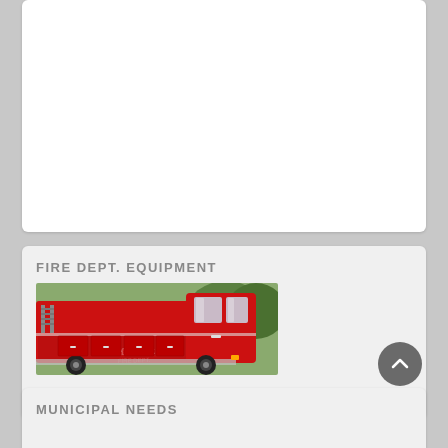[Figure (photo): Top white card area, mostly blank/cut off at top of page]
FIRE DEPT. EQUIPMENT
[Figure (photo): Red fire truck (High River Fire Dept.) photographed from the side, showing the cab and body of the vehicle with trees in background]
Read more ...
MUNICIPAL NEEDS